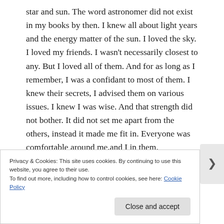star and sun. The word astronomer did not exist in my books by then. I knew all about light years and the energy matter of the sun. I loved the sky.
I loved my friends. I wasn't necessarily closest to any. But I loved all of them. And for as long as I remember, I was a confidant to most of them. I knew their secrets, I advised them on various issues. I knew I was wise. And that strength did not bother. It did not set me apart from the others, instead it made me fit in. Everyone was comfortable around me,and I in them.
I was scared of demons. Actual demons. My mum back at home, used to love watching Nigerian movies. She would
Privacy & Cookies: This site uses cookies. By continuing to use this website, you agree to their use.
To find out more, including how to control cookies, see here: Cookie Policy